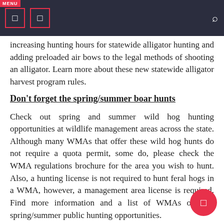Navigation bar with menu icons and search
increasing hunting hours for statewide alligator hunting and adding preloaded air bows to the legal methods of shooting an alligator. Learn more about these new statewide alligator harvest program rules.
Don't forget the spring/summer boar hunts
Check out spring and summer wild hog hunting opportunities at wildlife management areas across the state. Although many WMAs that offer these wild hog hunts do not require a quota permit, some do, please check the WMA regulations brochure for the area you wish to hunt. Also, a hunting license is not required to hunt feral hogs in a WMA, however, a management area license is required. Find more information and a list of WMAs offering spring/summer public hunting opportunities.